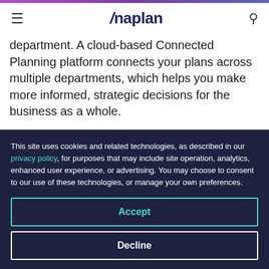Anaplan
department. A cloud-based Connected Planning platform connects your plans across multiple departments, which helps you make more informed, strategic decisions for the business as a whole.
This site uses cookies and related technologies, as described in our privacy policy, for purposes that may include site operation, analytics, enhanced user experience, or advertising. You may choose to consent to our use of these technologies, or manage your own preferences.
Accept
Decline
Manage settings